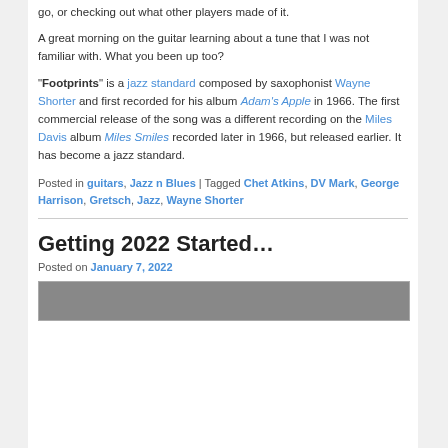go, or checking out what other players made of it.
A great morning on the guitar learning about a tune that I was not familiar with. What you been up too?
"Footprints" is a jazz standard composed by saxophonist Wayne Shorter and first recorded for his album Adam's Apple in 1966. The first commercial release of the song was a different recording on the Miles Davis album Miles Smiles recorded later in 1966, but released earlier. It has become a jazz standard.
Posted in guitars, Jazz n Blues | Tagged Chet Atkins, DV Mark, George Harrison, Gretsch, Jazz, Wayne Shorter
Getting 2022 Started…
Posted on January 7, 2022